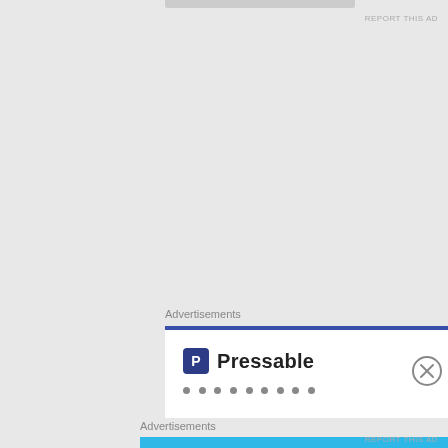REPORT THIS AD
[Figure (other): Gray empty content area with a top bar element]
Advertisements
[Figure (logo): Pressable advertisement with blue header bar, P logo and Pressable brand name, with dots below]
Advertisements
[Figure (illustration): Day One journaling app advertisement with light blue background, DAY ONE brand label, three illustrated icons (book, person, notepad), and tagline: The only journaling app you'll ever need.]
REPORT THIS AD